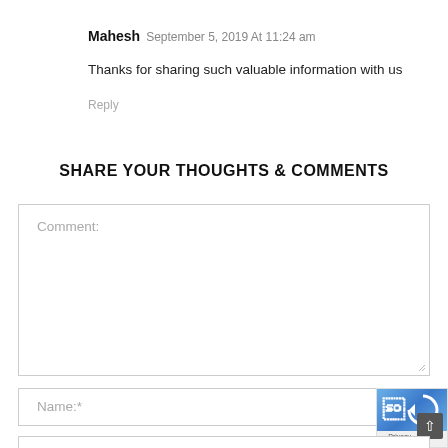Mahesh September 5, 2019 At 11:24 am
Thanks for sharing such valuable information with us
Reply
SHARE YOUR THOUGHTS & COMMENTS
Comment:
Name:*
Email: